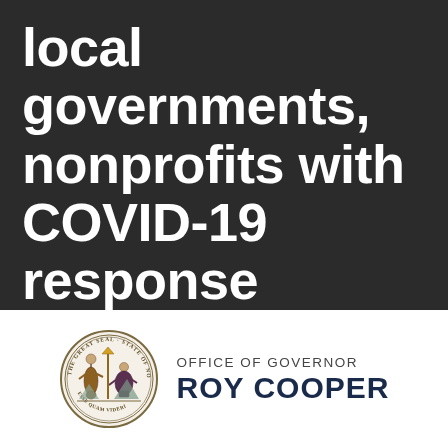local governments, nonprofits with COVID-19 response through virtual internships
Posted on  July 11, 2020
[Figure (logo): North Carolina State Seal with Office of Governor Roy Cooper text]
OFFICE OF GOVERNOR ROY COOPER